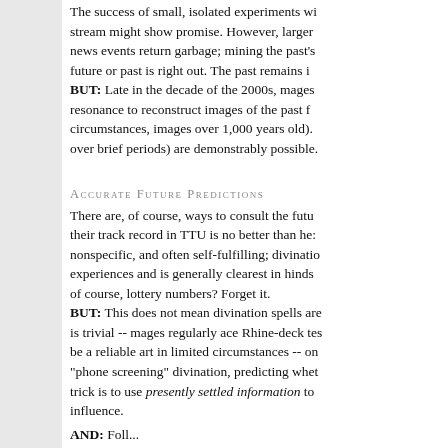The success of small, isolated experiments with stream might show promise. However, larger news events return garbage; mining the past's future or past is right out. The past remains in BUT: Late in the decade of the 2000s, mages resonance to reconstruct images of the past f circumstances, images over 1,000 years old). over brief periods) are demonstrably possible.
Accurate Future Predictions
There are, of course, ways to consult the future their track record in TTU is no better than he nonspecific, and often self-fulfilling; divination experiences and is generally clearest in hinds of course, lottery numbers? Forget it. BUT: This does not mean divination spells are is trivial -- mages regularly ace Rhine-deck tes be a reliable art in limited circumstances -- on "phone screening" divination, predicting whet trick is to use presently settled information to influence.
AND: Foll...